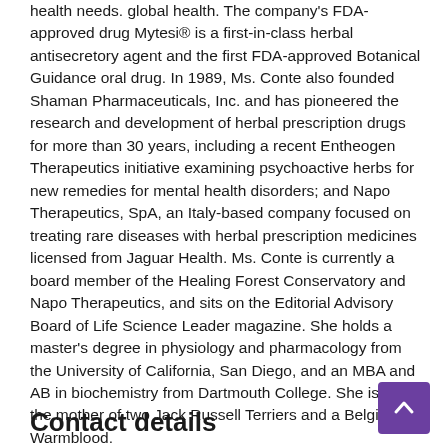health needs. global health. The company's FDA-approved drug Mytesi® is a first-in-class herbal antisecretory agent and the first FDA-approved Botanical Guidance oral drug. In 1989, Ms. Conte also founded Shaman Pharmaceuticals, Inc. and has pioneered the research and development of herbal prescription drugs for more than 30 years, including a recent Entheogen Therapeutics initiative examining psychoactive herbs for new remedies for mental health disorders; and Napo Therapeutics, SpA, an Italy-based company focused on treating rare diseases with herbal prescription medicines licensed from Jaguar Health. Ms. Conte is currently a board member of the Healing Forest Conservatory and Napo Therapeutics, and sits on the Editorial Advisory Board of Life Science Leader magazine. She holds a master's degree in physiology and pharmacology from the University of California, San Diego, and an MBA and AB in biochemistry from Dartmouth College. She is also the mother of two Jack Russell Terriers and a Belgian Warmblood.
Contact details